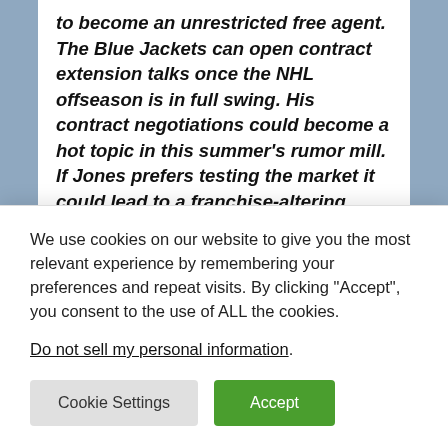to become an unrestricted free agent. The Blue Jackets can open contract extension talks once the NHL offseason is in full swing. His contract negotiations could become a hot topic in this summer's rumor mill. If Jones prefers testing the market it could lead to a franchise-altering trade at some point before next year's trade deadline.
Tortorella's critics this season (of which I am one) wonder why he hasn't been replaced given the Jackets' decline this season and the
We use cookies on our website to give you the most relevant experience by remembering your preferences and repeat visits. By clicking "Accept", you consent to the use of ALL the cookies.
Do not sell my personal information.